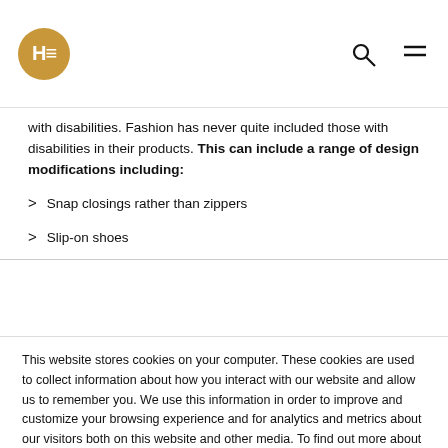HE logo with search and menu icons
with disabilities. Fashion has never quite included those with disabilities in their products. This can include a range of design modifications including:
Snap closings rather than zippers
Slip-on shoes
This website stores cookies on your computer. These cookies are used to collect information about how you interact with our website and allow us to remember you. We use this information in order to improve and customize your browsing experience and for analytics and metrics about our visitors both on this website and other media. To find out more about the cookies we use, see our Privacy Policy.
If you decline, your information won’t be tracked when you visit this website. A single cookie will be used in your browser to remember your preference not to be tracked.